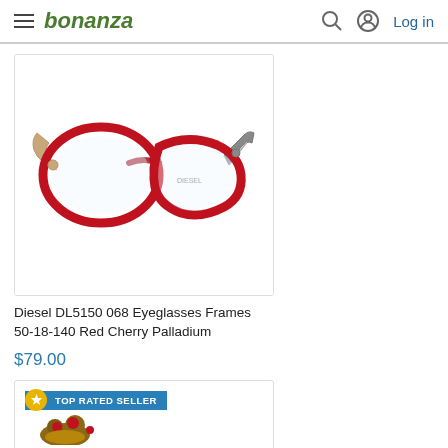bonanza — Log in
[Figure (photo): Red Diesel DL5150 068 eyeglasses frames with tortoiseshell temples on white background]
Diesel DL5150 068 Eyeglasses Frames 50-18-140 Red Cherry Palladium
$79.00
[Figure (photo): Partial view of a second product listing with TOP RATED SELLER badge and decorative item]